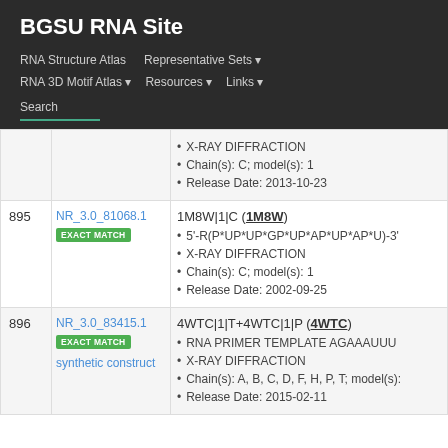BGSU RNA Site
RNA Structure Atlas | Representative Sets | RNA 3D Motif Atlas | Resources | Links | Search
| # | ID | Info |
| --- | --- | --- |
|  |  | X-RAY DIFFRACTION | Chain(s): C; model(s): 1 | Release Date: 2013-10-23 |
| 895 | NR_3.0_81068.1 EXACT MATCH | 1M8W|1|C (1M8W) | 5'-R(P*UP*UP*GP*UP*AP*UP*AP*U)-3' | X-RAY DIFFRACTION | Chain(s): C; model(s): 1 | Release Date: 2002-09-25 |
| 896 | NR_3.0_83415.1 EXACT MATCH synthetic construct | 4WTC|1|T+4WTC|1|P (4WTC) | RNA PRIMER TEMPLATE AGAAAUUU | X-RAY DIFFRACTION | Chain(s): A, B, C, D, F, H, P, T; model(s): | Release Date: 2015-02-11 |